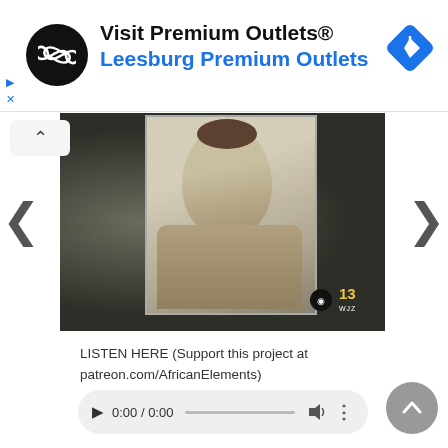[Figure (other): Advertisement banner for 'Visit Premium Outlets® Leesburg Premium Outlets' with a black circular logo with infinity-like symbol, a blue navigation diamond icon, and blue play/close icons on the left.]
[Figure (photo): A historical black-and-white portrait photograph of a woman, displayed as a video thumbnail from CBS13 WJZ news, with left and right navigation arrows and an up-arrow collapse button.]
LISTEN HERE (Support this project at patreon.com/AfricanElements)
[Figure (other): Audio player UI showing 0:00 / 0:00 with play button, progress bar, volume icon, more options icon, and a grey scroll-up circular button.]